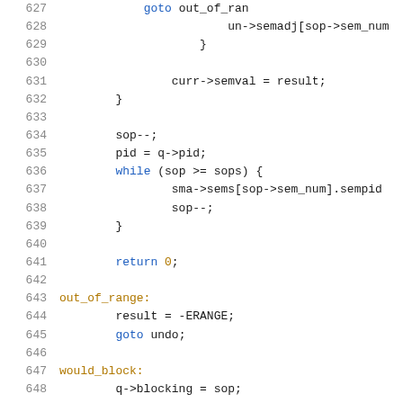[Figure (screenshot): Source code listing showing lines 627-648 of a C program, with syntax highlighting. Keywords in blue, labels in gold/olive, default text in dark. Lines show semaphore-related operations including goto, while loop, sop decrement, pid assignment, sems access, return 0, out_of_range label, result assignment, goto undo, would_block label, and q->blocking assignment.]